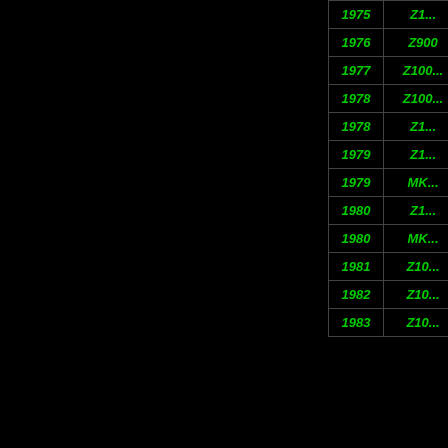| Year | Model |
| --- | --- |
| 1975 | Z1... |
| 1976 | Z900 |
| 1977 | Z100... |
| 1978 | Z100... |
| 1978 | Z1... |
| 1979 | Z1... |
| 1979 | MK... |
| 1980 | Z1... |
| 1980 | MK... |
| 1981 | Z10... |
| 1982 | Z10... |
| 1983 | Z10... |